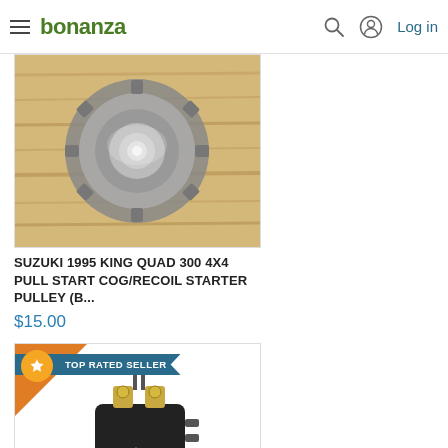bonanza  Log in
[Figure (photo): A Suzuki King Quad recoil starter pulley cog, circular metal part with notched edges, photographed on a wooden surface]
SUZUKI 1995 KING QUAD 300 4X4 PULL START COG/RECOIL STARTER PULLEY (B...
$15.00
[Figure (photo): A starter solenoid relay component for an ATV, black cylindrical body with gold-colored mounting bracket and terminals, with 'TOP RATED SELLER' badge overlay]